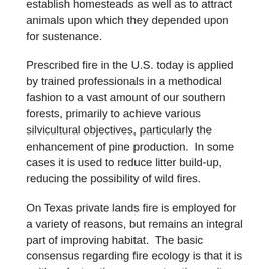establish homesteads as well as to attract animals upon which they depended upon for sustenance.
Prescribed fire in the U.S. today is applied by trained professionals in a methodical fashion to a vast amount of our southern forests, primarily to achieve various silvicultural objectives, particularly the enhancement of pine production.  In some cases it is used to reduce litter build-up, reducing the possibility of wild fires.
On Texas private lands fire is employed for a variety of reasons, but remains an integral part of improving habitat.  The basic consensus regarding fire ecology is that it is neither destructive nor constructive as it simply causes change, and dependent on weather conditions, the end result can be controlled.
Prescribed fire is defined as fire applied in a knowledgeable manner to naturally occurring vegetation